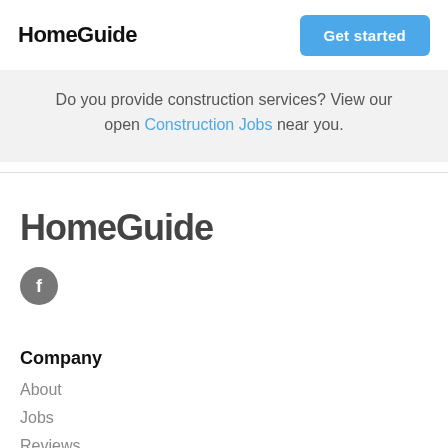HomeGuide | Get started
Do you provide construction services? View our open Construction Jobs near you.
HomeGuide
[Figure (logo): Facebook icon circle with letter f]
Company
About
Jobs
Reviews